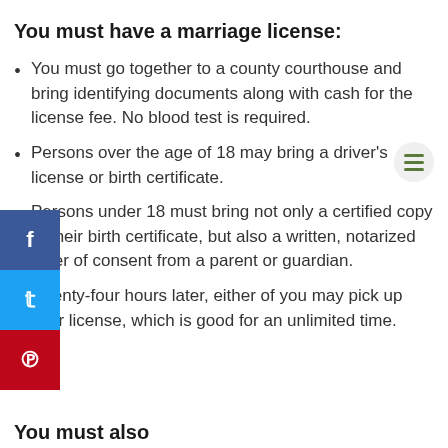You must have a marriage license:
You must go together to a county courthouse and bring identifying documents along with cash for the license fee. No blood test is required.
Persons over the age of 18 may bring a driver's license or birth certificate.
Persons under 18 must bring not only a certified copy of their birth certificate, but also a written, notarized letter of consent from a parent or guardian.
Twenty-four hours later, either of you may pick up your license, which is good for an unlimited time.
You must also